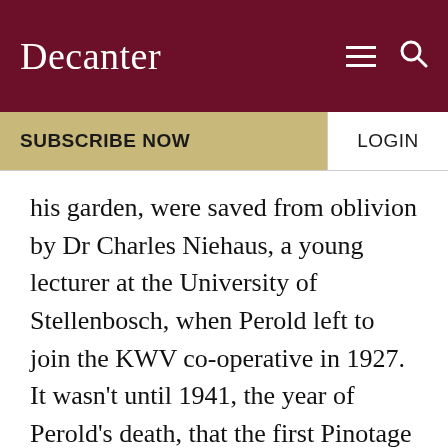Decanter
SUBSCRIBE NOW
LOGIN
his garden, were saved from oblivion by Dr Charles Niehaus, a young lecturer at the University of Stellenbosch, when Perold left to join the KWV co-operative in 1927. It wasn't until 1941, the year of Perold's death, that the first Pinotage was vinified at Elsenburg Agricultural College. By such small margins did the grape survive.
I know what you're thinking. If Perold had tried a